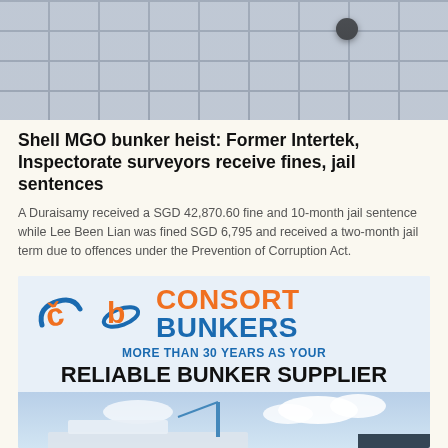[Figure (photo): Ceiling with grid panels and a security camera mounted]
Shell MGO bunker heist: Former Intertek, Inspectorate surveyors receive fines, jail sentences
A Duraisamy received a SGD 42,870.60 fine and 10-month jail sentence while Lee Been Lian was fined SGD 6,795 and received a two-month jail term due to offences under the Prevention of Corruption Act.
[Figure (logo): Consort Bunkers advertisement logo and tagline: More than 30 years as your reliable bunker supplier, with ship photo]